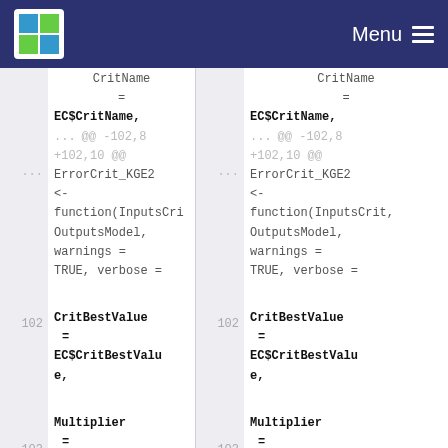Menu
[Figure (screenshot): Code diff view showing two columns of monospace code. Left and right panels show identical content with line numbers. Code includes: CritName = EC$CritName, @@ -102,8 +102,10 @@ ErrorCrit_KGE2 <- function(InputsCrit, OutputsModel, warnings = TRUE, verbose = [line 102], CritBestValue = EC$CritBestValue, [line 103], Multiplier =]